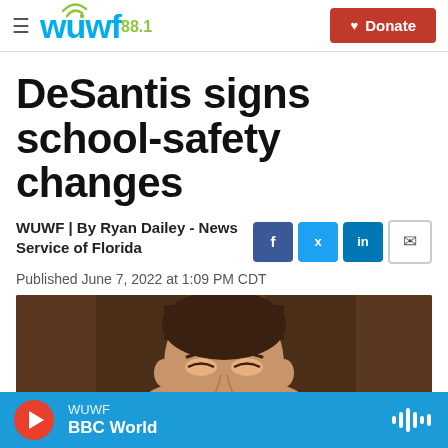WUWF 88.1 | Donate
DeSantis signs school-safety changes
WUWF | By Ryan Dailey - News Service of Florida
Published June 7, 2022 at 1:09 PM CDT
[Figure (photo): Photograph of a man (Governor DeSantis) from shoulders up, in front of a dark wood-paneled background]
WUWF | BBC World